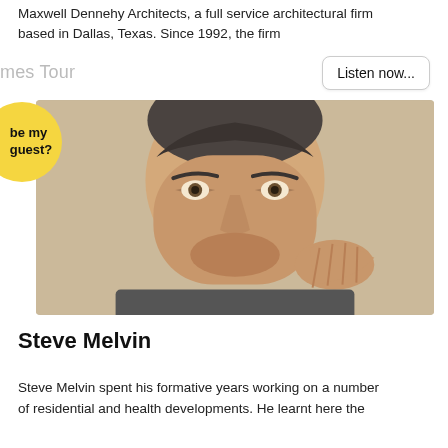Maxwell Dennehy Architects, a full service architectural firm based in Dallas, Texas. Since 1992, the firm
mes Tour
Listen now...
be my guest?
[Figure (photo): Close-up portrait of a middle-aged man with short dark grey hair, resting his hand near his face, looking thoughtfully to the side. Warm beige/tan background.]
Steve Melvin
Steve Melvin spent his formative years working on a number of residential and health developments. He learnt here the